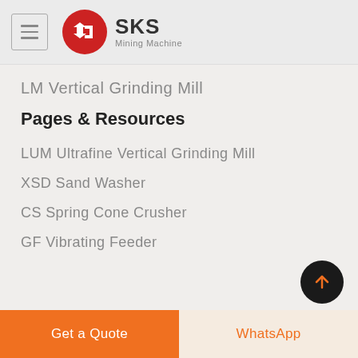SKS Mining Machine
LM Vertical Grinding Mill
Pages & Resources
LUM Ultrafine Vertical Grinding Mill
XSD Sand Washer
CS Spring Cone Crusher
GF Vibrating Feeder
Get a Quote
WhatsApp